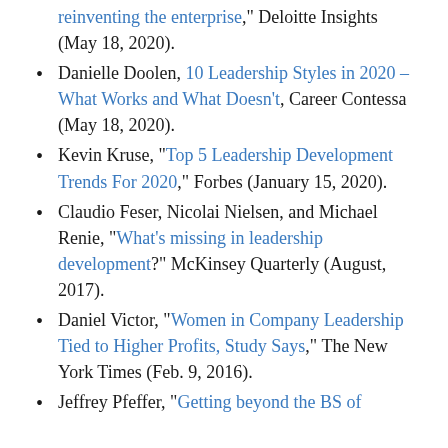reinventing the enterprise," Deloitte Insights (May 18, 2020).
Danielle Doolen, 10 Leadership Styles in 2020 – What Works and What Doesn't, Career Contessa (May 18, 2020).
Kevin Kruse, "Top 5 Leadership Development Trends For 2020," Forbes (January 15, 2020).
Claudio Feser, Nicolai Nielsen, and Michael Renie, "What's missing in leadership development?" McKinsey Quarterly (August, 2017).
Daniel Victor, "Women in Company Leadership Tied to Higher Profits, Study Says," The New York Times (Feb. 9, 2016).
Jeffrey Pfeffer, "Getting beyond the BS of